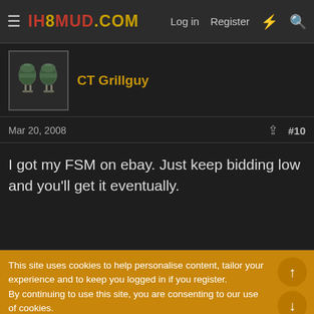IH8MUD.COM  Log in  Register
CT Grillguy
Mar 20, 2008  #10
I got my FSM on ebay. Just keep bidding low and you'll get it eventually.
This site uses cookies to help personalise content, tailor your experience and to keep you logged in if you register.
By continuing to use this site, you are consenting to our use of cookies.
Accept  Learn more...